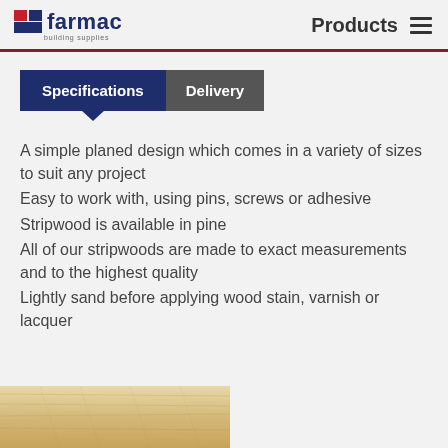farmac building supplies — Products
Specifications | Delivery
A simple planed design which comes in a variety of sizes to suit any project
Easy to work with, using pins, screws or adhesive
Stripwood is available in pine
All of our stripwoods are made to exact measurements and to the highest quality
Lightly sand before applying wood stain, varnish or lacquer
[Figure (photo): Close-up photo of pale pine wood stripwood at the bottom of the page]